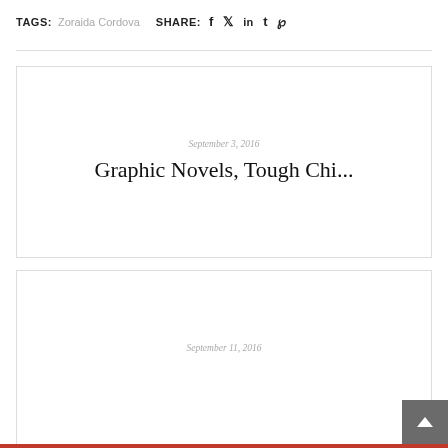TAGS: Zoraida Cordova SHARE: f t in t p
September 3, 2016
Graphic Novels, Tough Chi...
September 11, 2016